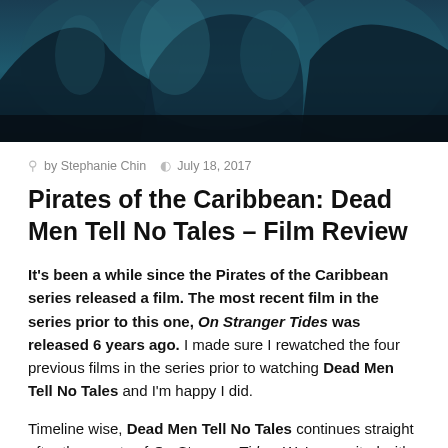[Figure (photo): Dark, moody promotional image from Pirates of the Caribbean: Dead Men Tell No Tales showing ghostly/undead figures in teal and dark blue tones]
by Stephanie Chin  July 18, 2017
Pirates of the Caribbean: Dead Men Tell No Tales – Film Review
It's been a while since the Pirates of the Caribbean series released a film. The most recent film in the series prior to this one, On Stranger Tides was released 6 years ago. I made sure I rewatched the four previous films in the series prior to watching Dead Men Tell No Tales and I'm happy I did.
Timeline wise, Dead Men Tell No Tales continues straight after the events of On Stranger Tides. We're reunited with